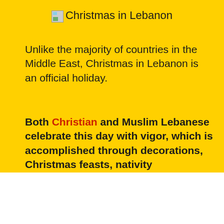Christmas in Lebanon
Unlike the majority of countries in the Middle East, Christmas in Lebanon is an official holiday.
Both Christian and Muslim Lebanese celebrate this day with vigor, which is accomplished through decorations, Christmas feasts, nativity